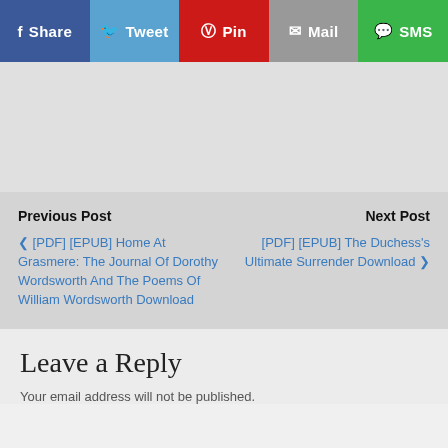[Figure (infographic): Social share bar with five buttons: Share (Facebook, dark blue), Tweet (Twitter, light blue), Pin (Pinterest, red), Mail (grey), SMS (green)]
[Figure (other): Grey advertisement placeholder area]
Previous Post
Next Post
❮ [PDF] [EPUB] Home At Grasmere: The Journal Of Dorothy Wordsworth And The Poems Of William Wordsworth Download
[PDF] [EPUB] The Duchess's Ultimate Surrender Download ❯
Leave a Reply
Your email address will not be published.